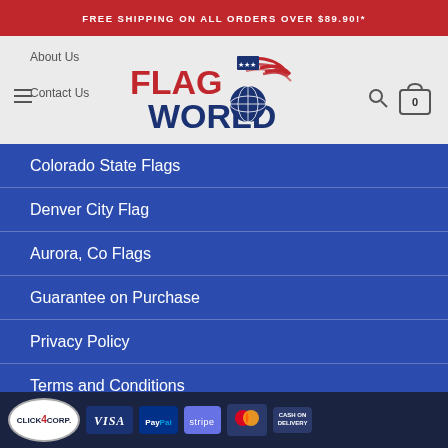FREE SHIPPING ON ALL ORDERS OVER $89.90!*
[Figure (logo): Flag World logo with American flag design and globe]
About Us
Contact Us
Colorado State Flags
Denver City Flag
Aurora, Co Flags
Guarantee on Purchase
Privacy Policy
Terms and Conditions
Click4Corp | VISA | PayPal | stripe | MasterCard | CASH ON DELIVERY